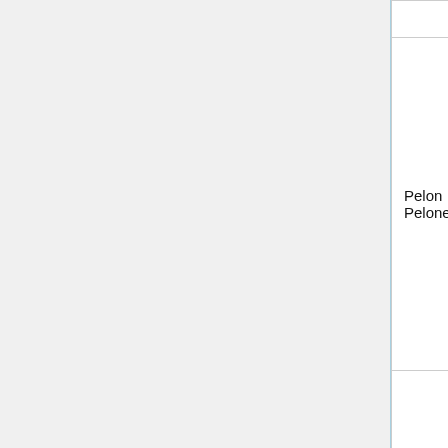| Name | Origin | Description |
| --- | --- | --- |
| Pelon Pelonetes | Mexico | Little candy b... a chewy cent... Despite the m... colors, they a... tamarind flav... that great. |
| Primrose - Salt Water Taffy | USA, Illinois | Standard che... water taffy ch... wrapped in w... paper. Flavor... orange crear... cherry, blue b... watermelon, lemon/lime, Neapolitan, c... orange, and peppermint. |
|  |  | Puchao are n... textured chew... |